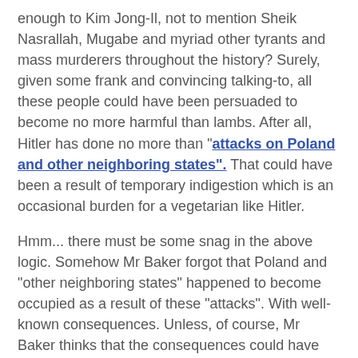enough to Kim Jong-Il, not to mention Sheik Nasrallah, Mugabe and myriad other tyrants and mass murderers throughout the history? Surely, given some frank and convincing talking-to, all these people could have been persuaded to become no more harmful than lambs. After all, Hitler has done no more than "attacks on Poland and other neighboring states". That could have been a result of temporary indigestion which is an occasional burden for a vegetarian like Hitler.
Hmm... there must be some snag in the above logic. Somehow Mr Baker forgot that Poland and "other neighboring states" happened to become occupied as a result of these "attacks". With well-known consequences. Unless, of course, Mr Baker thinks that the consequences could have been avoided as well by talking to Hitler in a right way. Or, as it may happen, Mr Baker just isn't interested very much in the fate the befell all these Eastern heathens.
And this is the second important point: for some reason, as I have mentioned at the start of the post, Mr Baker focuses on Hitler - Churchill - Roosevelt trio, disregarding the Eastern